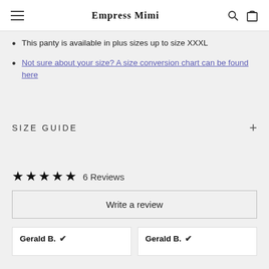Empress Mimi
This panty is available in plus sizes up to size XXXL
Not sure about your size? A size conversion chart can be found here
SIZE GUIDE
6 Reviews
Write a review
Gerald B. ✔
Gerald B. ✔